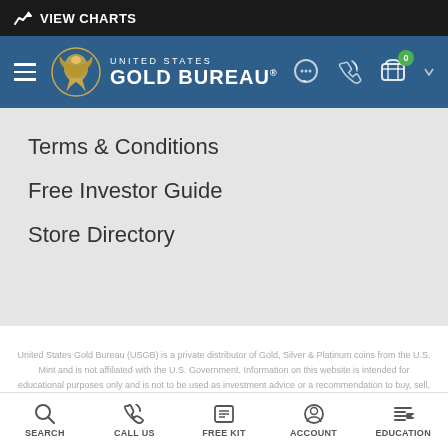VIEW CHARTS
[Figure (logo): United States Gold Bureau logo with eagle emblem and navigation icons]
Terms & Conditions
Free Investor Guide
Store Directory
United States Gold Bureau (USGB) is a private distributor of Gold, Silver & Platinum coins from the U.S. Mint and is not affiliated with the U.S. Government. Information on this website is intended for educational purposes only and is not to be used as investment advice or a recommendation to buy, sell, or trade any asset that requires a licensed broker. As with all investments there is risk and the past performance of a particular asset class does not guarantee any future performance. The United States Gold Bureau, principals, and representatives do not guarantee to
SEARCH | CALL US | FREE KIT | ACCOUNT | EDUCATION